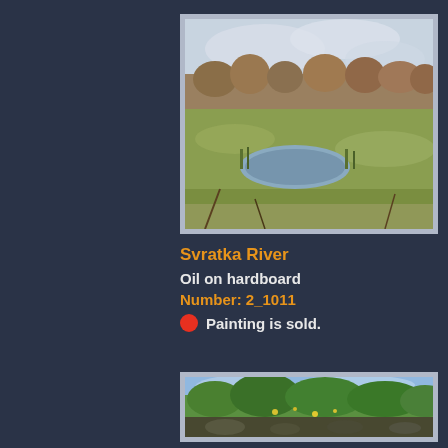[Figure (photo): Oil painting titled 'Svratka River' showing a pastoral landscape with a small pond or river bend surrounded by golden grassy meadows and autumn-colored trees under a cloudy sky. Painted on hardboard.]
Svratka River
Oil on hardboard
Number: 2_1011
● Painting is sold.
[Figure (photo): Oil painting showing a summer landscape with lush green trees on a hillside, wildflowers in foreground meadow, blue sky with clouds, and rocky riverbank in the lower portion.]